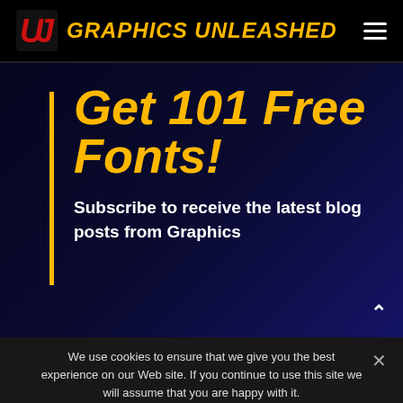GRAPHICS UNLEASHED
Get 101 Free Fonts!
Subscribe to receive the latest blog posts from Graphics
We use cookies to ensure that we give you the best experience on our Web site. If you continue to use this site we will assume that you are happy with it.
OK